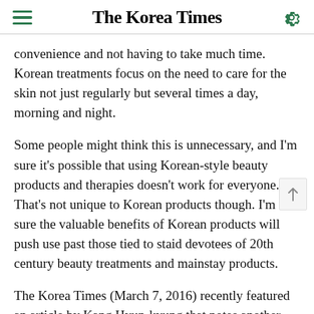The Korea Times
convenience and not having to take much time. Korean treatments focus on the need to care for the skin not just regularly but several times a day, morning and night.
Some people might think this is unnecessary, and I'm sure it's possible that using Korean-style beauty products and therapies doesn't work for everyone. That's not unique to Korean products though. I'm sure the valuable benefits of Korean products will push use past those tied to staid devotees of 20th century beauty treatments and mainstay products.
The Korea Times (March 7, 2016) recently featured an article by Kang Hyun-kyung that notes another important key for continuing the trend of K-beauty